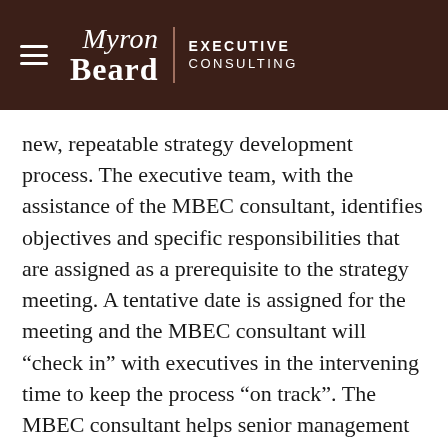Myron Beard Executive Consulting
new, repeatable strategy development process. The executive team, with the assistance of the MBEC consultant, identifies objectives and specific responsibilities that are assigned as a prerequisite to the strategy meeting. A tentative date is assigned for the meeting and the MBEC consultant will “check in” with executives in the intervening time to keep the process “on track”. The MBEC consultant helps senior management develop a clear agenda for the strategy